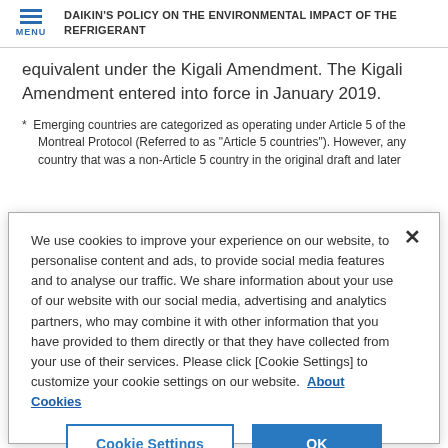DAIKIN'S POLICY ON THE ENVIRONMENTAL IMPACT OF THE REFRIGERANT
equivalent under the Kigali Amendment. The Kigali Amendment entered into force in January 2019.
* Emerging countries are categorized as operating under Article 5 of the Montreal Protocol (Referred to as "Article 5 countries"). However, any country that was a non-Article 5 country in the original draft and later
We use cookies to improve your experience on our website, to personalise content and ads, to provide social media features and to analyse our traffic. We share information about your use of our website with our social media, advertising and analytics partners, who may combine it with other information that you have provided to them directly or that they have collected from your use of their services. Please click [Cookie Settings] to customize your cookie settings on our website. About Cookies